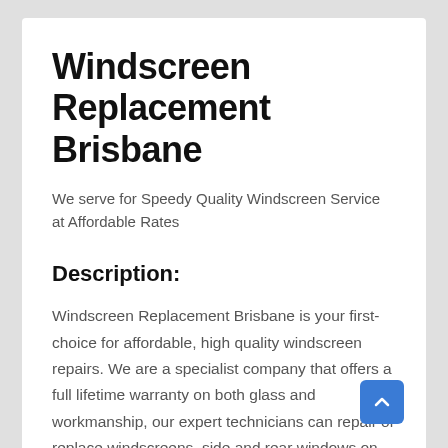Windscreen Replacement Brisbane
We serve for Speedy Quality Windscreen Service at Affordable Rates
Description:
Windscreen Replacement Brisbane is your first-choice for affordable, high quality windscreen repairs. We are a specialist company that offers a full lifetime warranty on both glass and workmanship, our expert technicians can repair or replace windscreens, side and rear windows on any model of vehicle. Our customers can save up to $200 by getting fast, quality service at affordable prices. Windscreen Replacement